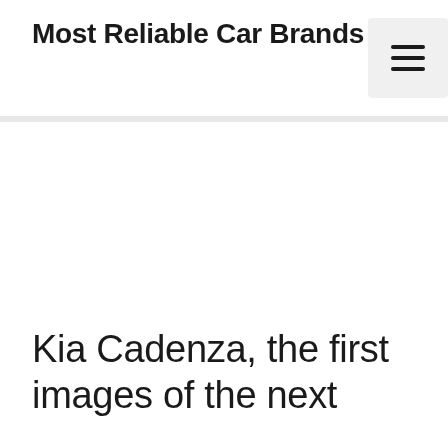Most Reliable Car Brands
[Figure (other): Hamburger menu button icon with three horizontal lines on a light gray background square]
[Figure (other): Advertisement / blank white area placeholder]
Kia Cadenza, the first images of the next